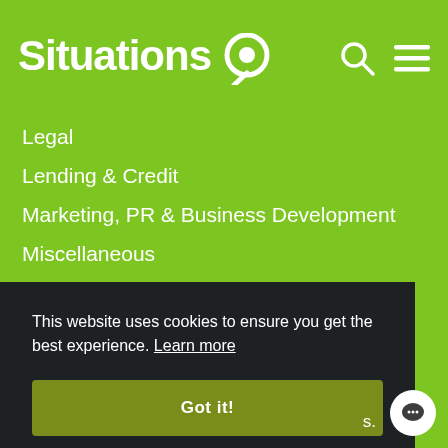Situations
Legal
Lending & Credit
Marketing, PR & Business Development
Miscellaneous
Non-finance
Office Administration
Office Manager
Operations
PA & Secretarial
Pensions
This website uses cookies to ensure you get the best experience. Learn more
Got it!